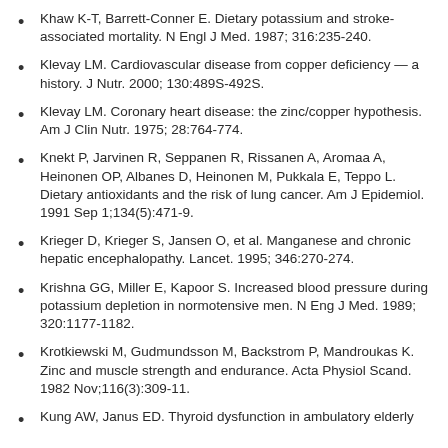Khaw K-T, Barrett-Conner E. Dietary potassium and stroke-associated mortality. N Engl J Med. 1987; 316:235-240.
Klevay LM. Cardiovascular disease from copper deficiency — a history. J Nutr. 2000; 130:489S-492S.
Klevay LM. Coronary heart disease: the zinc/copper hypothesis. Am J Clin Nutr. 1975; 28:764-774.
Knekt P, Jarvinen R, Seppanen R, Rissanen A, Aromaa A, Heinonen OP, Albanes D, Heinonen M, Pukkala E, Teppo L. Dietary antioxidants and the risk of lung cancer. Am J Epidemiol. 1991 Sep 1;134(5):471-9.
Krieger D, Krieger S, Jansen O, et al. Manganese and chronic hepatic encephalopathy. Lancet. 1995; 346:270-274.
Krishna GG, Miller E, Kapoor S. Increased blood pressure during potassium depletion in normotensive men. N Eng J Med. 1989; 320:1177-1182.
Krotkiewski M, Gudmundsson M, Backstrom P, Mandroukas K. Zinc and muscle strength and endurance. Acta Physiol Scand. 1982 Nov;116(3):309-11.
Kung AW, Janus ED. Thyroid dysfunction in ambulatory elderly...